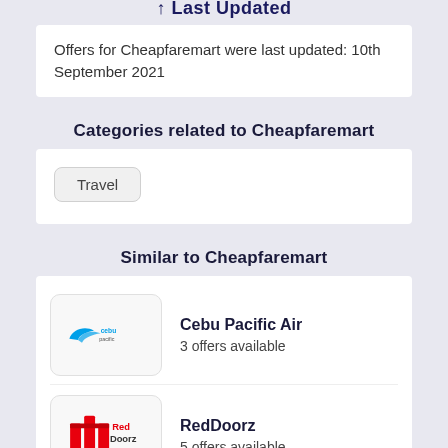↑ Last Updated
Offers for Cheapfaremart were last updated: 10th September 2021
Categories related to Cheapfaremart
Travel
Similar to Cheapfaremart
Cebu Pacific Air
3 offers available
RedDoorz
5 offers available